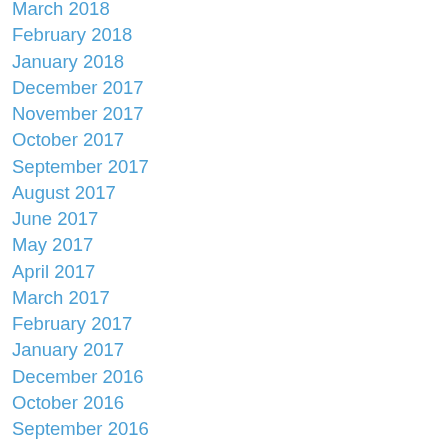March 2018
February 2018
January 2018
December 2017
November 2017
October 2017
September 2017
August 2017
June 2017
May 2017
April 2017
March 2017
February 2017
January 2017
December 2016
October 2016
September 2016
August 2016
July 2016
June 2016
May 2016